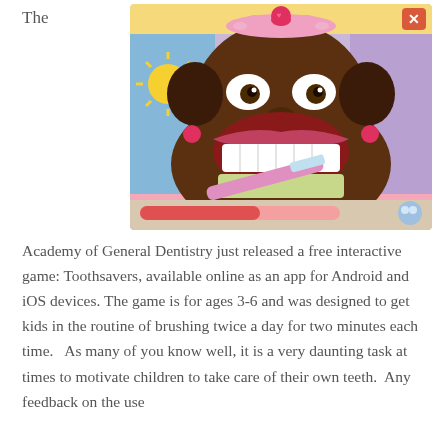The
[Figure (screenshot): Screenshot of a dental hygiene mobile game showing an animated dark-skinned princess character with mouth wide open, teeth visible, being brushed with a toothbrush. The character wears a pink tiara and earrings. Background is colorful with pink and blue elements.]
Academy of General Dentistry just released a free interactive game: Toothsavers, available online as an app for Android and iOS devices. The game is for ages 3-6 and was designed to get kids in the routine of brushing twice a day for two minutes each time.   As many of you know well, it is a very daunting task at times to motivate children to take care of their own teeth.  Any feedback on the use